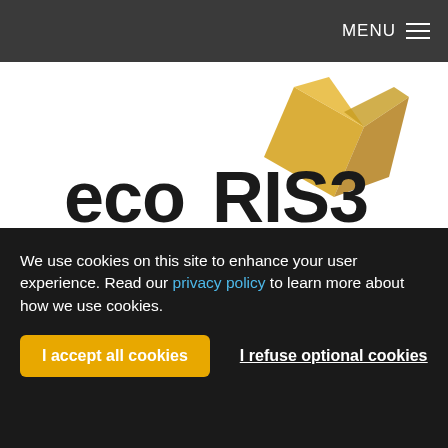MENU
[Figure (logo): ecoRIS3 Interreg Europe logo with golden geometric arrow/flag shape above the text 'ecoRIS3' and 'Interreg Europe' in dark blue]
[Figure (logo): European Union flag (blue with gold stars) with text 'European Union European Regional']
We use cookies on this site to enhance your user experience. Read our privacy policy to learn more about how we use cookies.
I accept all cookies
I refuse optional cookies